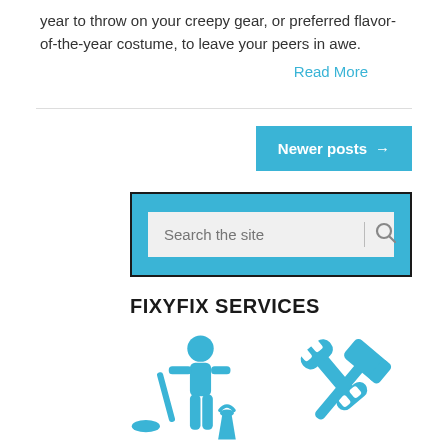year to throw on your creepy gear, or preferred flavor-of-the-year costume, to leave your peers in awe.
Read More
Newer posts →
[Figure (screenshot): Search bar widget with cyan/blue background border and search input field with magnifying glass icon]
FIXYFIX SERVICES
[Figure (illustration): Two cyan icons: a cleaning person with mop and bucket on the left, and crossed wrench and hammer tools on the right]